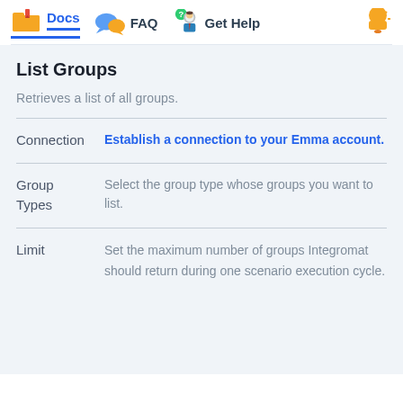Docs   FAQ   Get Help
List Groups
Retrieves a list of all groups.
| Field | Description |
| --- | --- |
| Connection | Establish a connection to your Emma account. |
| Group Types | Select the group type whose groups you want to list. |
| Limit | Set the maximum number of groups Integromat should return during one scenario execution cycle. |